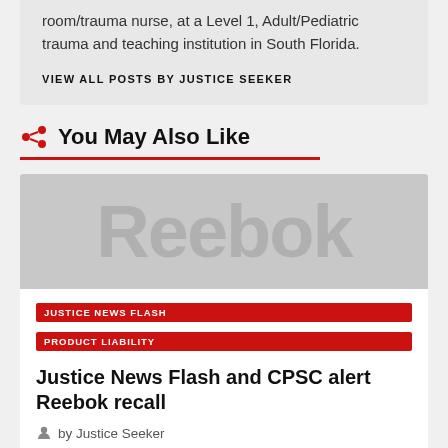room/trauma nurse, at a Level 1, Adult/Pediatric trauma and teaching institution in South Florida.
VIEW ALL POSTS BY JUSTICE SEEKER
You May Also Like
[Figure (photo): Reebok logo placeholder image in gray]
JUSTICE NEWS FLASH
PRODUCT LIABILITY
Justice News Flash and CPSC alert Reebok recall
by Justice Seeker